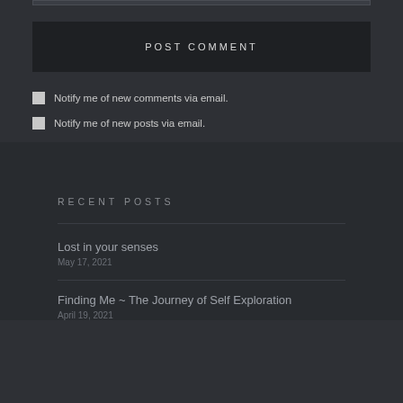POST COMMENT
Notify me of new comments via email.
Notify me of new posts via email.
RECENT POSTS
Lost in your senses
May 17, 2021
Finding Me ~ The Journey of Self Exploration
April 19, 2021